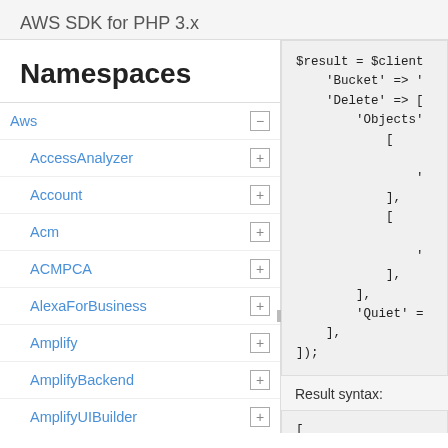AWS SDK for PHP 3.x
Namespaces
Aws
AccessAnalyzer
Account
Acm
ACMPCA
AlexaForBusiness
Amplify
AmplifyBackend
AmplifyUIBuilder
Api
ApiGateway
ApiGatewayManagementApi
[Figure (screenshot): PHP code snippet showing $result = $client->... with 'Bucket', 'Delete' => ['Objects' => [...], 'Quiet' => ...] parameters]
Result syntax:
[Figure (screenshot): PHP array result syntax showing [ 'Deleted' => [ [ 'Dele...]